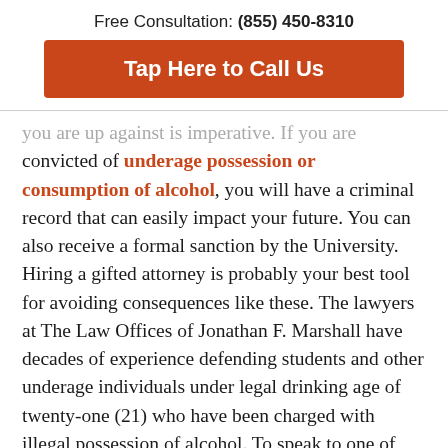Free Consultation: (855) 450-8310
Tap Here to Call Us
you are up against is imperative. If you are convicted of underage possession or consumption of alcohol, you will have a criminal record that can easily impact your future. You can also receive a formal sanction by the University. Hiring a gifted attorney is probably your best tool for avoiding consequences like these. The lawyers at The Law Offices of Jonathan F. Marshall have decades of experience defending students and other underage individuals under legal drinking age of twenty-one (21) who have been charged with illegal possession of alcohol. To speak to one of our attorneys about the